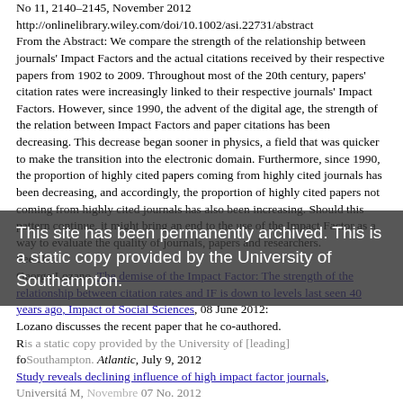No 11, 2140–2145, November 2012
http://onlinelibrary.wiley.com/doi/10.1002/asi.22731/abstract
From the Abstract: We compare the strength of the relationship between journals' Impact Factors and the actual citations received by their respective papers from 1902 to 2009. Throughout most of the 20th century, papers' citation rates were increasingly linked to their respective journals' Impact Factors. However, since 1990, the advent of the digital age, the strength of the relation between Impact Factors and paper citations has been decreasing. This decrease began sooner in physics, a field that was quicker to make the transition into the electronic domain. Furthermore, since 1990, the proportion of highly cited papers coming from highly cited journals has been decreasing, and accordingly, the proportion of highly cited papers not coming from highly cited journals has also been increasing. Should this pattern continue, it might bring an end to the use of the Impact Factor as a way to evaluate the quality of journals, papers and researchers.
See also
George Lozano, The demise of the Impact Factor: The strength of the relationship between citation rates and IF is down to levels last seen 40 years ago, Impact of Social Sciences, 08 June 2012: Lozano discusses the recent paper that he co-authored. R is a static copy [provided] [by] [the] University of [leading] fo[Southampton]. Atlantic, July 9, 2012
Study reveals declining influence of high impact factor journals,
This site has been permanently archived. This is a static copy provided by the University of Southampton.